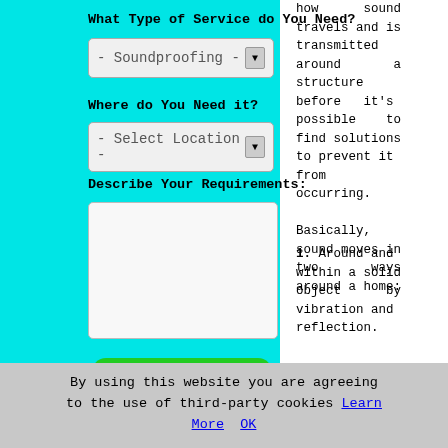What Type of Service do You Need?
- Soundproofing -
Where do You Need it?
- Select Location -
Describe Your Requirements:
SUBMIT
how sound travels and is transmitted around a structure before it's possible to find solutions to prevent it from occurring.

Basically, sound moves in two ways around a home:
1. Around and within a solid object by vibration and reflection.
2. Through
[Figure (photo): Gray scaly textured surface, appears to be a close-up of a material or surface with a scale-like pattern]
By using this website you are agreeing to the use of third-party cookies Learn More  OK